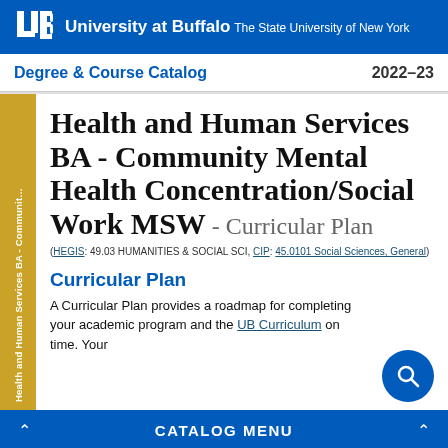University at Buffalo The State University of New York
Degree & Course Catalog 2022–23
Health and Human Services BA - Community Mental Health Concentration/Social Work MSW - Curricular Plan
(HEGIS: 49.03 HUMANITIES & SOCIAL SCI, CIP: 45.0101 Social Sciences, General)
Curricular Plan
A Curricular Plan provides a roadmap for completing your academic program and the UB Curriculum on time. Your